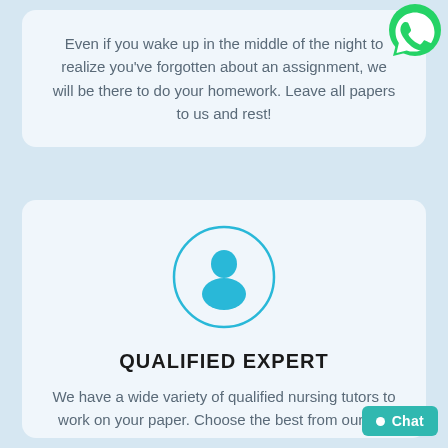Even if you wake up in the middle of the night to realize you've forgotten about an assignment, we will be there to do your homework. Leave all papers to us and rest!
[Figure (logo): WhatsApp green logo icon in the top-right corner]
[Figure (illustration): Blue person/user silhouette icon inside a teal circle outline]
QUALIFIED EXPERT
We have a wide variety of qualified nursing tutors to work on your paper. Choose the best from our list!